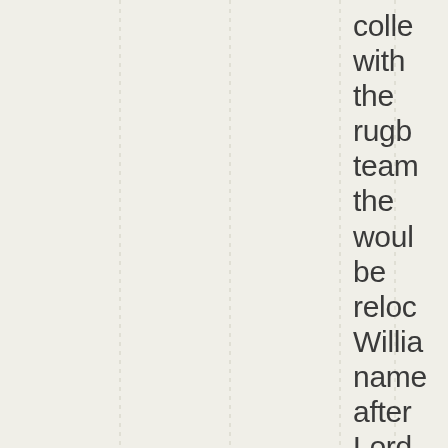colle with the rugb team the woul be reloc Willia name after Lord Jeffe